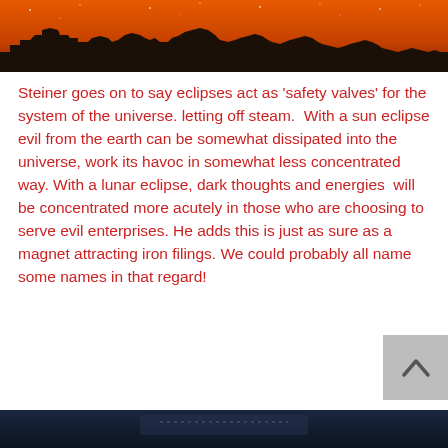[Figure (illustration): A silhouette of rocky terrain or ruins against an orange/amber sky with stars or particles visible, suggesting a dramatic celestial scene.]
Steiner goes on to say eclipses act as 'safety valves' for the system of the universe. letting off steam.  With a sun eclipse evil from the earth can be somewhat dissipated into the universe, work its havoc in somewhat less concentrated way. With a lunar eclipse, dark thoughts and energies  will be concentrated more acutely in those who are choosing to serve evil enterprises. He adds this is just as sure as a magnet attracting iron filings. We could probably all name some names in that regard!
[Figure (photo): Partial view of a dark nighttime or space scene visible at the very bottom of the page.]